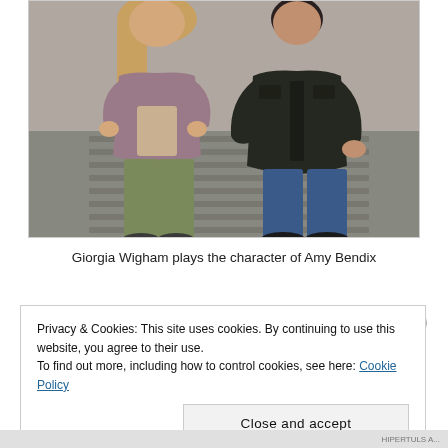[Figure (photo): Two people standing side by side. On the left, a woman with long hair wearing a mauve/purple jacket and olive green pants. On the right, a man wearing a dark jacket and blue jeans.]
Giorgia Wigham plays the character of Amy Bendix
Privacy & Cookies: This site uses cookies. By continuing to use this website, you agree to their use.
To find out more, including how to control cookies, see here: Cookie Policy
Close and accept